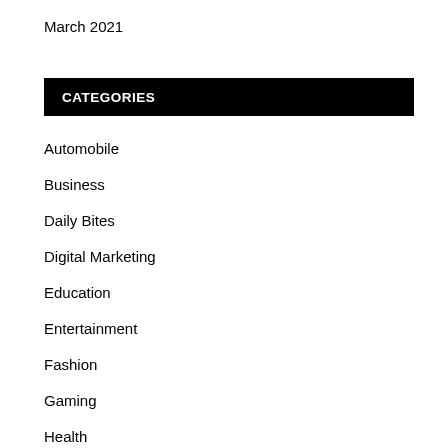March 2021
CATEGORIES
Automobile
Business
Daily Bites
Digital Marketing
Education
Entertainment
Fashion
Gaming
Health
Home Improvement